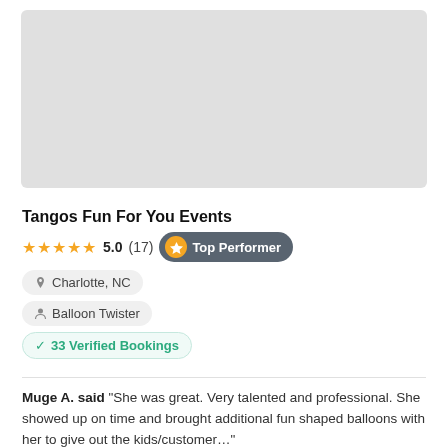[Figure (photo): Gray placeholder image area for Tangos Fun For You Events]
Tangos Fun For You Events
★★★★★ 5.0 (17) Top Performer
Charlotte, NC
Balloon Twister
✓ 33 Verified Bookings
Muge A. said "She was great. Very talented and professional. She showed up on time and brought additional fun shaped balloons with her to give out the kids/customer..."